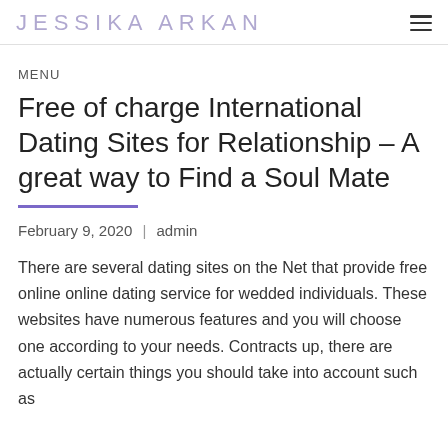JESSIKA ARKAN
MENU
Free of charge International Dating Sites for Relationship – A great way to Find a Soul Mate
February 9, 2020 | admin
There are several dating sites on the Net that provide free online online dating service for wedded individuals. These websites have numerous features and you will choose one according to your needs. Contracts up, there are actually certain things you should take into account such as